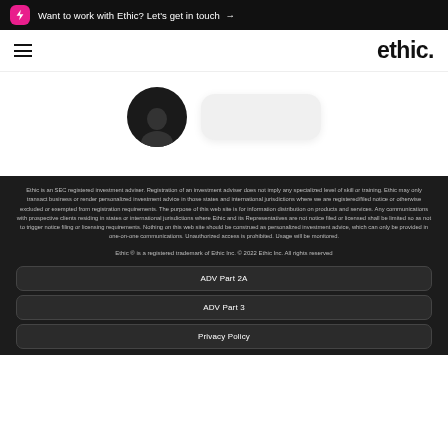Want to work with Ethic? Let's get in touch →
[Figure (logo): Ethic. logo with hamburger menu icon on a white navigation bar]
[Figure (photo): Partial view of a person's face (dark silhouette) next to a white rounded card element on white background]
Ethic is an SEC registered investment adviser. Registration of an investment adviser does not imply any specialized level of skill or training. Ethic may only transact business or render personalized investment advice in those states and international jurisdictions where we are registered/filed notice or otherwise excluded or exempted from registration requirements. The purpose of this web site is for information distribution on products and services. Any communications with prospective clients residing in states or international jurisdictions where Ethic and its Representatives are not notice filed or licensed shall be limited so as not to trigger notice filing or licensing requirements. Nothing on this web site should be construed as personalized investment advice, which can only be provided in one-on-one communications. Unauthorized access is prohibited. Usage will be monitored.
Ethic ® is a registered trademark of Ethic Inc. © 2022 Ethic Inc. All rights reserved
ADV Part 2A
ADV Part 3
Privacy Policy